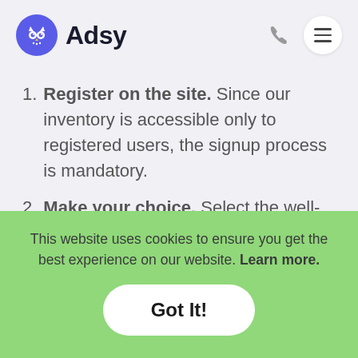[Figure (logo): Adsy logo: purple circle with white owl icon, followed by bold text 'Adsy']
Register on the site. Since our inventory is accessible only to registered users, the signup process is mandatory.
Make your choice. Select the well-suited platform and let us contact webmasters of the authoritative blogs in the target niche. If you want to use your piece of writing, then study
This website uses cookies to ensure you get the best experience on our website. Learn more.
Got It!